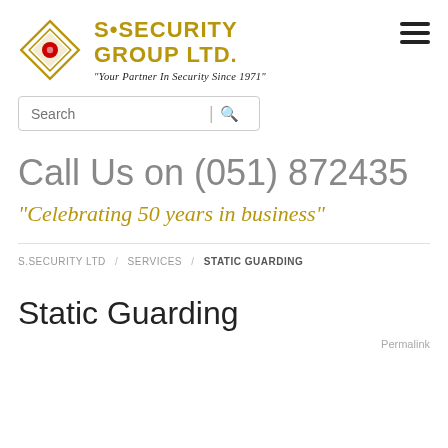[Figure (logo): S Security Group Ltd. logo with diamond shape and red circle, gold text reading S•SECURITY GROUP LTD. and italic tagline Your Partner In Security Since 1971]
Call Us on (051) 872435
"Celebrating 50 years in business"
S.SECURITY LTD / SERVICES / STATIC GUARDING
Static Guarding
Permalink